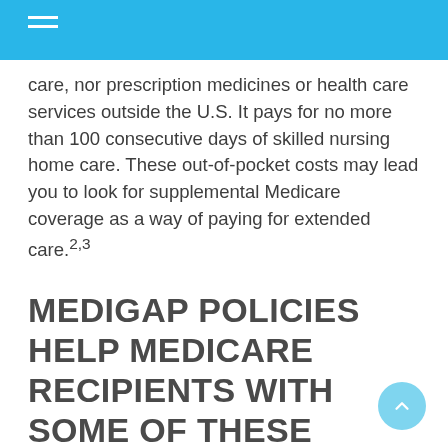care, nor prescription medicines or health care services outside the U.S. It pays for no more than 100 consecutive days of skilled nursing home care. These out-of-pocket costs may lead you to look for supplemental Medicare coverage as a way of paying for extended care.2,3
MEDIGAP POLICIES HELP MEDICARE RECIPIENTS WITH SOME OF THESE COPAYS AND DEDUCTIBLES.
Sold by private companies, these health care policies